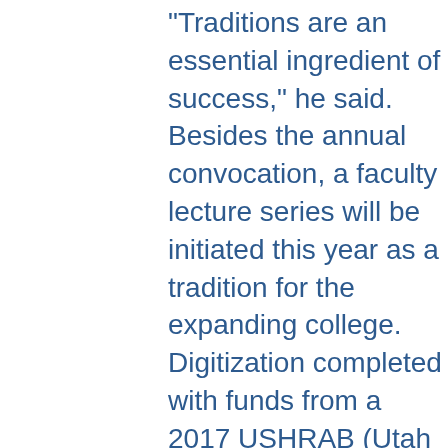"Traditions are an essential ingredient of success," he said. Besides the annual convocation, a faculty lecture series will be initiated this year as a tradition for the expanding college. Digitization completed with funds from a 2017 USHRAB (Utah State Historical Records Advisory Board) Grant that